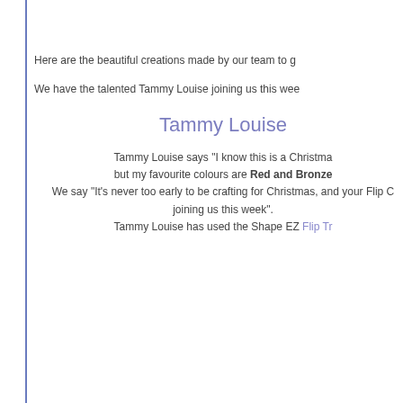Here are the beautiful creations made by our team to g
We have the talented Tammy Louise joining us this wee
Tammy Louise
Tammy Louise says "I know this is a Christma but my favourite colours are Red and Bronze. We say "It's never too early to be crafting for Christmas, and your Flip C joining us this week". Tammy Louise has used the Shape EZ Flip Tr